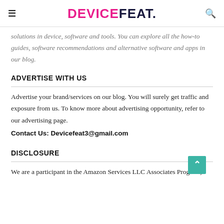DEVICEFEAT.
...solutions in device, software and tools. You can explore all the how-to guides, software recommendations and alternative software and apps in our blog.
ADVERTISE WITH US
Advertise your brand/services on our blog. You will surely get traffic and exposure from us. To know more about advertising opportunity, refer to our advertising page.
Contact Us: Devicefeat3@gmail.com
DISCLOSURE
We are a participant in the Amazon Services LLC Associates Program,